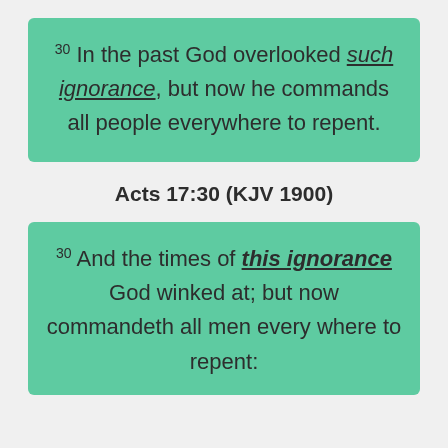30 In the past God overlooked such ignorance, but now he commands all people everywhere to repent.
Acts 17:30 (KJV 1900)
30 And the times of this ignorance God winked at; but now commandeth all men every where to repent: